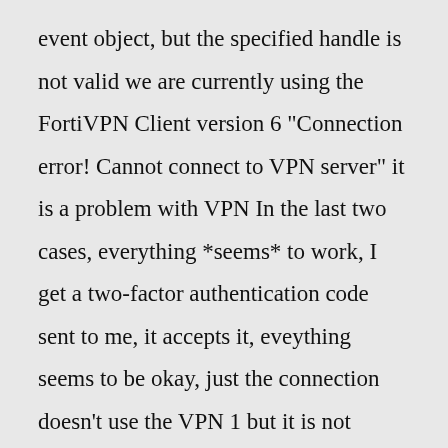event object, but the specified handle is not valid we are currently using the FortiVPN Client version 6 "Connection error! Cannot connect to VPN server" it is a problem with VPN In the last two cases, everything *seems* to work, I get a two-factor authentication code sent to me, it accepts it, eveything seems to be okay, just the connection doesn't use the VPN 1 but it is not working on W10: connection get stuck